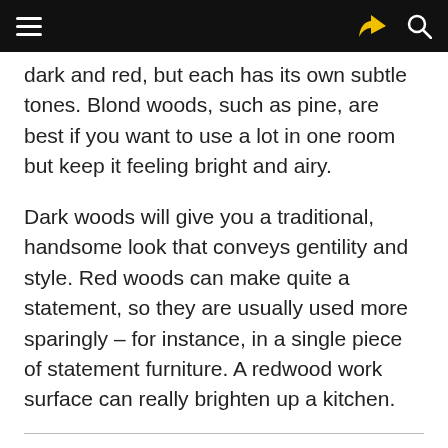dark and red, but each has its own subtle tones. Blond woods, such as pine, are best if you want to use a lot in one room but keep it feeling bright and airy.
Dark woods will give you a traditional, handsome look that conveys gentility and style. Red woods can make quite a statement, so they are usually used more sparingly – for instance, in a single piece of statement furniture. A redwood work surface can really brighten up a kitchen.
Although knots are part of the charm of wood, the fewer there are, the more resilient it will be over time. Avoid pieces where there are knots in areas that come under a lot of strain.